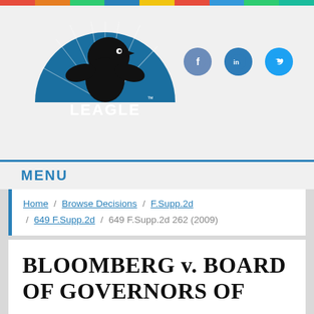[Figure (logo): Leagle eagle logo — dark eagle silhouette on blue semicircle with LEAGLE text in white]
[Figure (other): Social media icons: Facebook (grey-blue circle), LinkedIn (blue circle), Twitter (cyan circle)]
MENU
Home / Browse Decisions / F.Supp.2d / 649 F.Supp.2d / 649 F.Supp.2d 262 (2009)
BLOOMBERG v. BOARD OF GOVERNORS OF